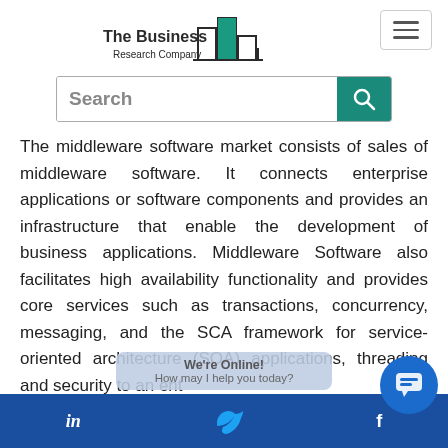[Figure (logo): The Business Research Company logo with teal bar chart icon and text]
[Figure (screenshot): Search bar with magnifying glass icon on teal background]
The middleware software market consists of sales of middleware software. It connects enterprise applications or software components and provides an infrastructure that enable the development of business applications. Middleware Software also facilitates high availability functionality and provides core services such as transactions, concurrency, messaging, and the SCA framework for service-oriented architecture (SOA) applications, threading and security to an ent
in  We're Online! How may I help you today?  f